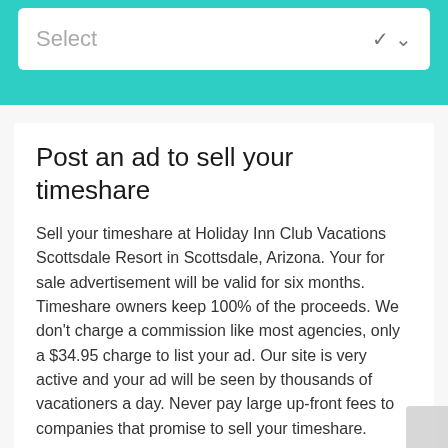[Figure (screenshot): Dropdown select box with teal/turquoise background header bar showing a white select input field with placeholder text 'Select' and a chevron/arrow on the right]
Post an ad to sell your timeshare
Sell your timeshare at Holiday Inn Club Vacations Scottsdale Resort in Scottsdale, Arizona. Your for sale advertisement will be valid for six months. Timeshare owners keep 100% of the proceeds. We don't charge a commission like most agencies, only a $34.95 charge to list your ad. Our site is very active and your ad will be seen by thousands of vacationers a day. Never pay large up-front fees to companies that promise to sell your timeshare.
See the LIVE site activity here - Live Site Activity
Edit your existing ads